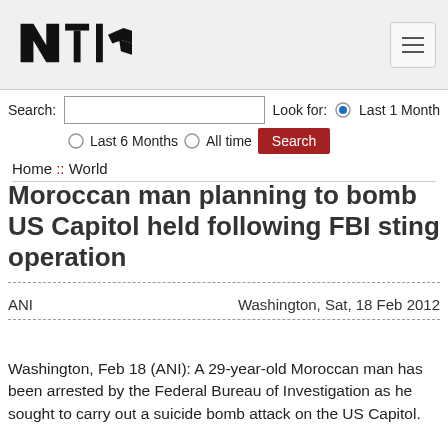[Figure (logo): NTI logo in black with stylized arrow]
Search: [input] Look for: (•) Last 1 Month
( ) Last 6 Months  ( ) All time  [Search]
Home :: World
Moroccan man planning to bomb US Capitol held following FBI sting operation
ANI    Washington, Sat, 18 Feb 2012
Washington, Feb 18 (ANI): A 29-year-old Moroccan man has been arrested by the Federal Bureau of Investigation as he sought to carry out a suicide bomb attack on the US Capitol.